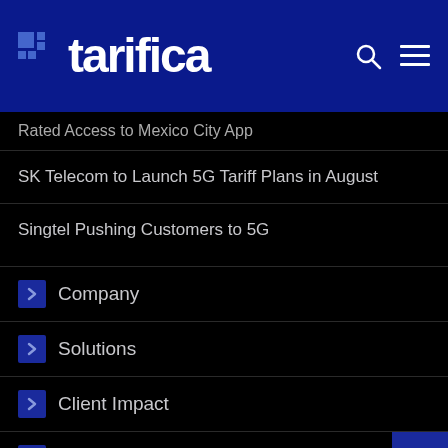tarifica
Rated Access to Mexico City App
SK Telecom to Launch 5G Tariff Plans in August
Singtel Pushing Customers to 5G
Company
Solutions
Client Impact
Industry News
Partners